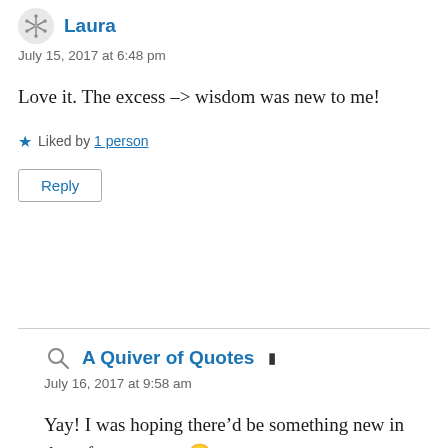Laura
July 15, 2017 at 6:48 pm
Love it. The excess –> wisdom was new to me!
★ Liked by 1 person
Reply
A Quiver of Quotes
July 16, 2017 at 9:58 am
Yay! I was hoping there'd be something new in there for everyone 🙂